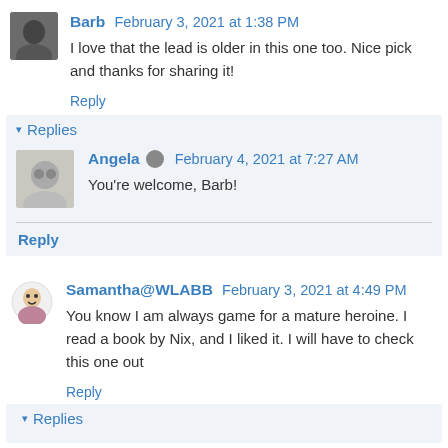Barb February 3, 2021 at 1:38 PM
I love that the lead is older in this one too. Nice pick and thanks for sharing it!
Reply
▾ Replies
Angela  February 4, 2021 at 7:27 AM
You're welcome, Barb!
Reply
Samantha@WLABB February 3, 2021 at 4:49 PM
You know I am always game for a mature heroine. I read a book by Nix, and I liked it. I will have to check this one out
Reply
▾ Replies